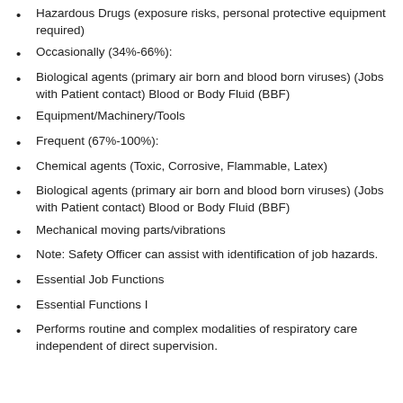Hazardous Drugs (exposure risks, personal protective equipment required)
Occasionally (34%-66%):
Biological agents (primary air born and blood born viruses) (Jobs with Patient contact) Blood or Body Fluid (BBF)
Equipment/Machinery/Tools
Frequent (67%-100%):
Chemical agents (Toxic, Corrosive, Flammable, Latex)
Biological agents (primary air born and blood born viruses) (Jobs with Patient contact) Blood or Body Fluid (BBF)
Mechanical moving parts/vibrations
Note: Safety Officer can assist with identification of job hazards.
Essential Job Functions
Essential Functions I
Performs routine and complex modalities of respiratory care independent of direct supervision.
Demonstrates competency and ability…